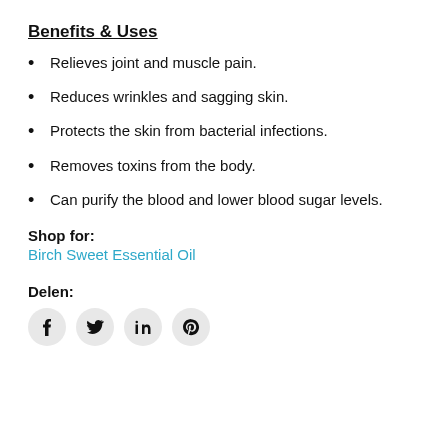Benefits & Uses
Relieves joint and muscle pain.
Reduces wrinkles and sagging skin.
Protects the skin from bacterial infections.
Removes toxins from the body.
Can purify the blood and lower blood sugar levels.
Shop for:
Birch Sweet Essential Oil
Delen:
[Figure (other): Social media share icons: Facebook, Twitter, LinkedIn, Pinterest]